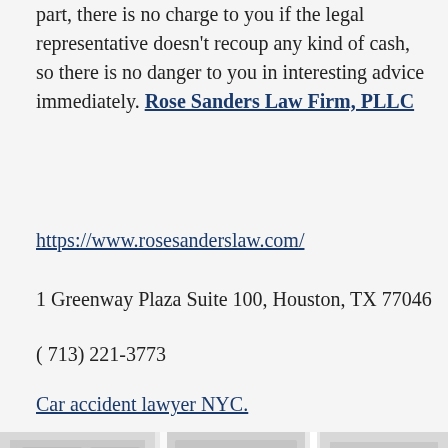part, there is no charge to you if the legal representative doesn't recoup any kind of cash, so there is no danger to you in interesting advice immediately. Rose Sanders Law Firm, PLLC
https://www.rosesanderslaw.com/
1 Greenway Plaza Suite 100, Houston, TX 77046
( 713) 221-3773
Car accident lawyer NYC.
[Figure (map): Google Maps embed showing area around 1 Greenway Plaza, Houston TX. Shows Sendera at Greenway Apartments, The Inverness Apartments, Metropole, irl Greenway Apartments, and other nearby locations. Map has a scroll-to-top button overlay.]